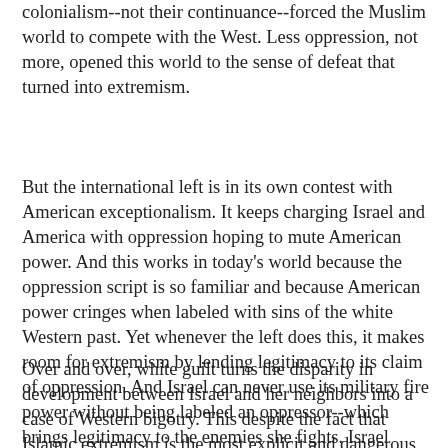colonialism--not their continuance--forced the Muslim world to compete with the West. Less oppression, not more, opened this world to the sense of defeat that turned into extremism.
But the international left is in its own contest with American exceptionalism. It keeps charging Israel and America with oppression hoping to mute American power. And this works in today's world because the oppression script is so familiar and because American power cringes when labeled with sins of the white Western past. Yet whenever the left does this, it makes room for extremism by lending legitimacy to its claim of oppression. And Israel can never use its military fire power without being labeled an oppressor--which brings legitimacy to the enemies she fights. Israel roars; much of Europe supports Hezbollah.
Over and over, white guilt turns the disparity in development between Israel and her neighbors into a case of Western bigotry. This despite the fact that Islamic extremism is the most explicit and dangerous expression of human bigotry since the Nazi era. Israel's historical contradiction, her